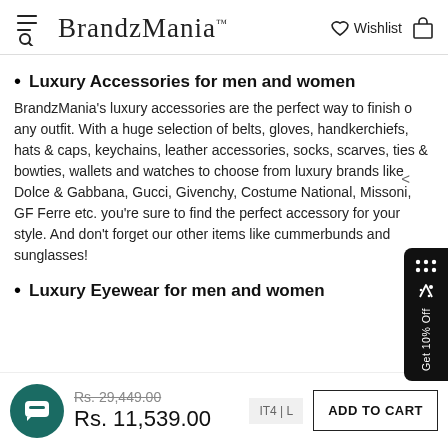BrandzMania — Wishlist
Luxury Accessories for men and women
BrandzMania's luxury accessories are the perfect way to finish off any outfit. With a huge selection of belts, gloves, handkerchiefs, hats & caps, keychains, leather accessories, socks, scarves, ties & bowties, wallets and watches to choose from luxury brands like Dolce & Gabbana, Gucci, Givenchy, Costume National, Missoni, GF Ferre etc. you're sure to find the perfect accessory for your style. And don't forget our other items like cummerbunds and sunglasses!
Luxury Eyewear for men and women
Rs. 29,449.00
Rs. 11,539.00
ADD TO CART